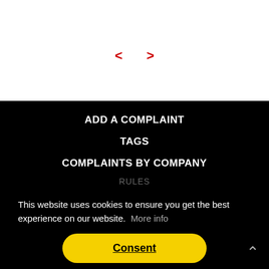[Figure (other): Navigation arrows (< and >) in red on white background section]
ADD A COMPLAINT
TAGS
COMPLAINTS BY COMPANY
This website uses cookies to ensure you get the best experience on our website. More info
Consent